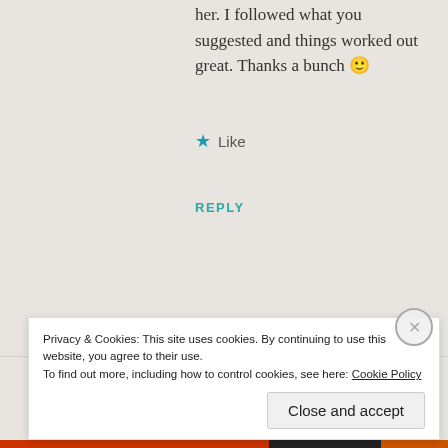her. I followed what you suggested and things worked out great. Thanks a bunch 🙂
★ Like
REPLY
buzzingbumblebee83
JULY 26, 2015 AT 9:05 PM
Yey, I'm so glad it was helpful :D. Congrats
[Figure (photo): Round profile photo of a woman with dark hair smiling, against a teal/blue background]
Privacy & Cookies: This site uses cookies. By continuing to use this website, you agree to their use.
To find out more, including how to control cookies, see here: Cookie Policy
Close and accept